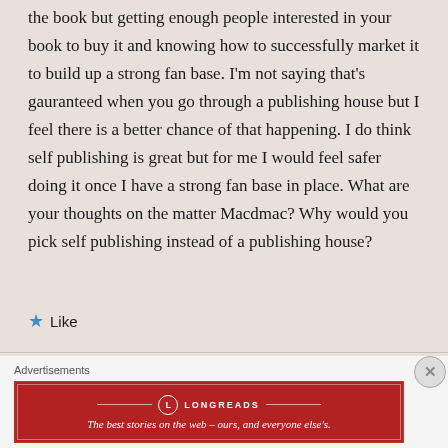the book but getting enough people interested in your book to buy it and knowing how to successfully market it to build up a strong fan base. I'm not saying that's gauranteed when you go through a publishing house but I feel there is a better chance of that happening. I do think self publishing is great but for me I would feel safer doing it once I have a strong fan base in place. What are your thoughts on the matter Macdmac? Why would you pick self publishing instead of a publishing house?
★ Like
Advertisements
[Figure (logo): Longreads advertisement banner: red background with Longreads logo and tagline 'The best stories on the web – ours, and everyone else's.']